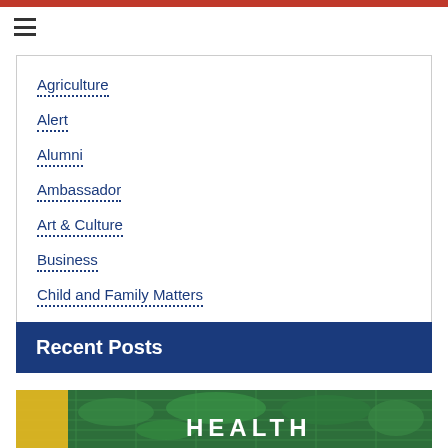Agriculture
Alert
Alumni
Ambassador
Art & Culture
Business
Child and Family Matters
Show More V
Recent Posts
[Figure (photo): Health-themed image with world map overlay on green background, yellow accent bar on left side, text reading HEALTH at bottom]